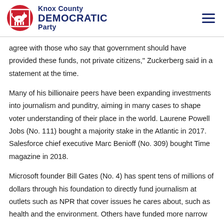Knox County Democratic Party
agree with those who say that government should have provided these funds, not private citizens," Zuckerberg said in a statement at the time.
Many of his billionaire peers have been expanding investments into journalism and punditry, aiming in many cases to shape voter understanding of their place in the world. Laurene Powell Jobs (No. 111) bought a majority stake in the Atlantic in 2017. Salesforce chief executive Marc Benioff (No. 309) bought Time magazine in 2018.
Microsoft founder Bill Gates (No. 4) has spent tens of millions of dollars through his foundation to directly fund journalism at outlets such as NPR that cover issues he cares about, such as health and the environment. Others have funded more narrow publishing efforts. The wealth Chi… Gov. W… said